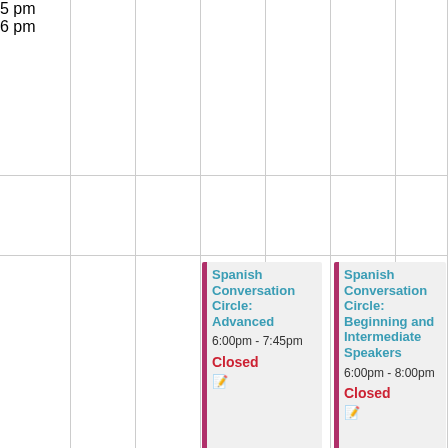| Time | Col1 | Col2 | Col3 | Col4 |
| --- | --- | --- | --- | --- |
| 5 pm |  |  |  |  |
| 6 pm |  |  | Spanish Conversation Circle: Advanced 6:00pm-7:45pm Closed | Spanish Conversation Circle: Beginning and Intermediate Speakers 6:00pm-8:00pm Closed |
5 pm
6 pm
Spanish Conversation Circle: Advanced
6:00pm - 7:45pm
Closed
Spanish Conversation Circle: Beginning and Intermediate Speakers
6:00pm - 8:00pm
Closed